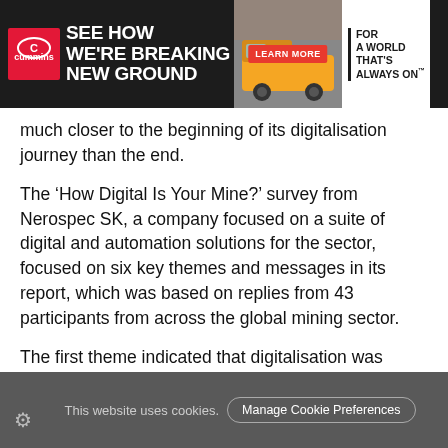[Figure (other): Cummins advertisement banner: 'SEE HOW WE'RE BREAKING NEW GROUND' with mining truck image, LEARN MORE button, and 'FOR A WORLD THAT'S ALWAYS ON' tagline]
much closer to the beginning of its digitalisation journey than the end.
The ‘How Digital Is Your Mine?’ survey from Nerospec SK, a company focused on a suite of digital and automation solutions for the sector, focused on six key themes and messages in its report, which was based on replies from 43 participants from across the global mining sector.
The first theme indicated that digitalisation was continuing to grow, with more than 70% of participants expecting increased investments in projects going forward.
This expected growth was influenced by the second theme:
This website uses cookies.   Manage Cookie Preferences